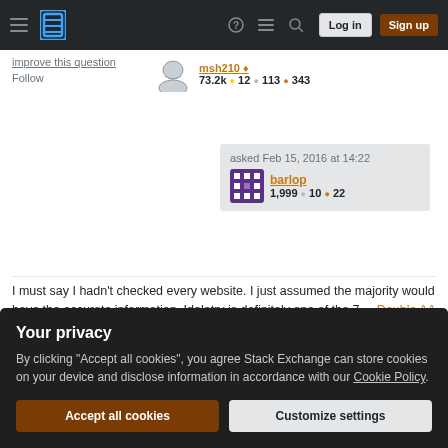Stack Exchange navigation bar with Log in and Sign up buttons
improve this question
Follow
73.2k 12 113 343
asked Feb 15, 2016 at 14:22
barlop
1,999 10 22
I must say I hadn't checked every website. I just assumed the majority would have the accurate information. Idolatry is definitely one of the 7. – Double AA ♦ Feb 15, 2016 at 15:50
Re: difference between idolatry and denying God, see
Your privacy
By clicking "Accept all cookies", you agree Stack Exchange can store cookies on your device and disclose information in accordance with our Cookie Policy.
Accept all cookies  Customize settings